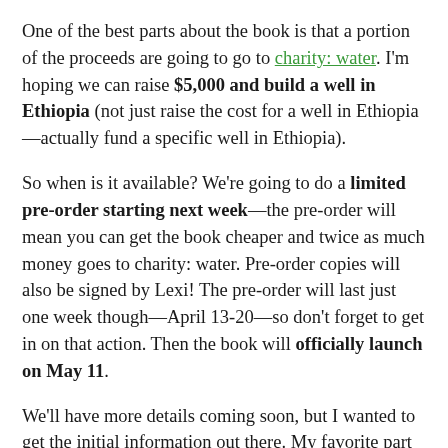One of the best parts about the book is that a portion of the proceeds are going to go to charity: water. I'm hoping we can raise $5,000 and build a well in Ethiopia (not just raise the cost for a well in Ethiopia—actually fund a specific well in Ethiopia).
So when is it available? We're going to do a limited pre-order starting next week—the pre-order will mean you can get the book cheaper and twice as much money goes to charity: water. Pre-order copies will also be signed by Lexi! The pre-order will last just one week though—April 13-20—so don't forget to get in on that action. Then the book will officially launch on May 11.
We'll have more details coming soon, but I wanted to get the initial information out there. My favorite part of this whole roll out is that it's coinciding with the beginning of our next adoption. How cool is that? Not planned at all, but we'll take it. [This roll out also coincides with this fancy new blog design,